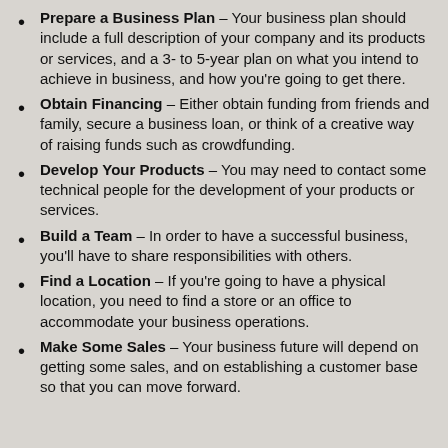Prepare a Business Plan – Your business plan should include a full description of your company and its products or services, and a 3- to 5-year plan on what you intend to achieve in business, and how you're going to get there.
Obtain Financing – Either obtain funding from friends and family, secure a business loan, or think of a creative way of raising funds such as crowdfunding.
Develop Your Products – You may need to contact some technical people for the development of your products or services.
Build a Team – In order to have a successful business, you'll have to share responsibilities with others.
Find a Location – If you're going to have a physical location, you need to find a store or an office to accommodate your business operations.
Make Some Sales – Your business future will depend on getting some sales, and on establishing a customer base so that you can move forward.